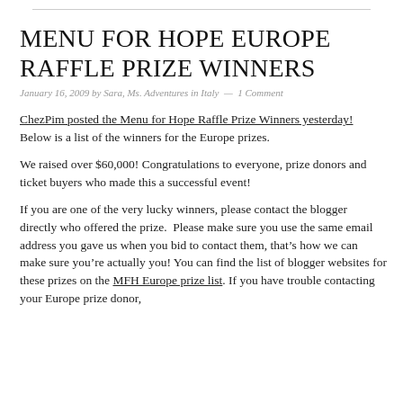MENU FOR HOPE EUROPE RAFFLE PRIZE WINNERS
January 16, 2009 by Sara, Ms. Adventures in Italy — 1 Comment
ChezPim posted the Menu for Hope Raffle Prize Winners yesterday! Below is a list of the winners for the Europe prizes.
We raised over $60,000! Congratulations to everyone, prize donors and ticket buyers who made this a successful event!
If you are one of the very lucky winners, please contact the blogger directly who offered the prize.  Please make sure you use the same email address you gave us when you bid to contact them, that's how we can make sure you're actually you! You can find the list of blogger websites for these prizes on the MFH Europe prize list. If you have trouble contacting your Europe prize donor,